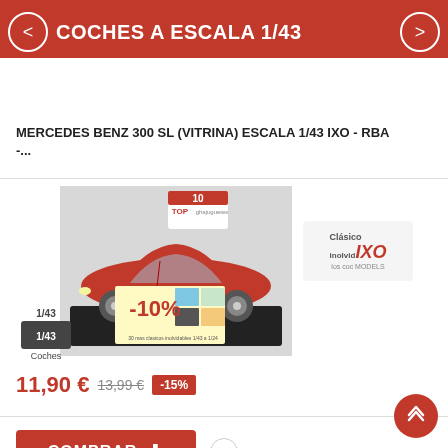COCHES A ESCALA 1/43
MERCEDES BENZ 300 SL (VITRINA) ESCALA 1/43 IXO - RBA -...
[Figure (photo): Red Mercedes Benz 300 SL scale model 1/43 on a black display stand, with TOP 10 logo overlay, -10% promotion banner, and IXO Models logo]
11,90 € 13,99 € -15%
COMPRAR +